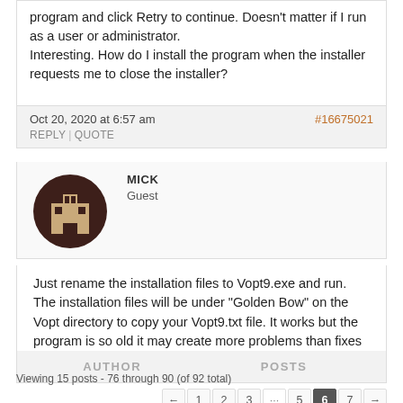program and click Retry to continue. Doesn't matter if I run as a user or administrator.
Interesting. How do I install the program when the installer requests me to close the installer?
Oct 20, 2020 at 6:57 am
REPLY | QUOTE
#16675021
MICK
Guest
[Figure (illustration): Circular avatar with dark brown/maroon background and pixel-art style building/home icon in tan color]
Just rename the installation files to Vopt9.exe and run. The installation files will be under “Golden Bow” on the Vopt directory to copy your Vopt9.txt file. It works but the program is so old it may create more problems than fixes and shorten the life of SSD who need “Trim” not “Defrag”
AUTHOR
POSTS
Viewing 15 posts - 76 through 90 (of 92 total)
← 1 2 3 … 5 6 7 →